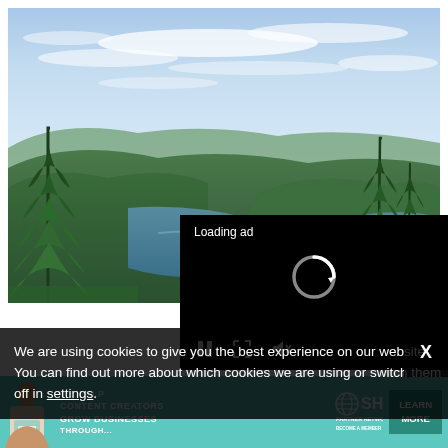[Figure (photo): Aerial view of a mountain fjord/lake with dark green forested hillsides, evergreen trees in foreground, calm blue water winding through valley, partly cloudy sky with wispy white clouds]
[Figure (screenshot): Video ad overlay with black background, 'Loading ad' text, spinning loading indicator, and video controls (pause, fullscreen, mute buttons)]
We are using cookies to give you the best experience on our website.
You can find out more about which cookies we are using or switch them off in settings.
[Figure (infographic): SHE Media partner network advertisement banner: teal background, woman holding tablet, text 'WE HELP CONTENT CREATORS GROW BUSINESSES THROUGH...', SHE Partner Network logo, 'LEARN MORE' button]